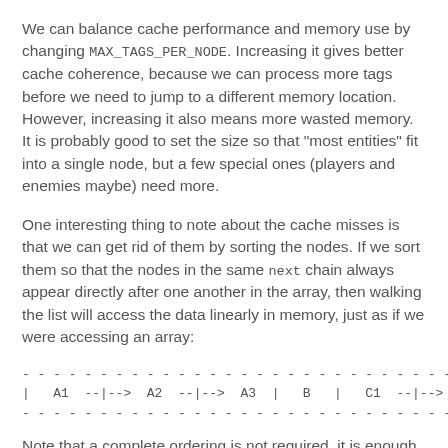We can balance cache performance and memory use by changing MAX_TAGS_PER_NODE. Increasing it gives better cache coherence, because we can process more tags before we need to jump to a different memory location. However, increasing it also means more wasted memory. It is probably good to set the size so that "most entities" fit into a single node, but a few special ones (players and enemies maybe) need more.
One interesting thing to note about the cache misses is that we can get rid of them by sorting the nodes. If we sort them so that the nodes in the same next chain always appear directly after one another in the array, then walking the list will access the data linearly in memory, just as if we were accessing an array:
- - - - - - - - - - - - - - - - - - - - - - - - - - - - - - - - - - - - - - - - - - - - - - - - -
|   A1  --|-->  A2  --|-->  A3  |   B   |   C1  --|-->  C2   |
- - - - - - - - - - - - - - - - - - - - - - - - - - - - - - - - - - - - - - - - - - - - - - - - -
Note that a complete ordering is not required, it is enough if the linked nodes end up together. Single nodes, such as the B node above could go anywhere.